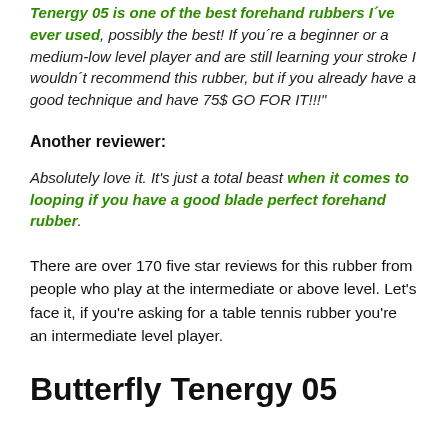Tenergy 05 is one of the best forehand rubbers I've ever used, possibly the best! If you're a beginner or a medium-low level player and are still learning your stroke I wouldn't recommend this rubber, but if you already have a good technique and have 75$ GO FOR IT!!!"
Another reviewer:
Absolutely love it. It's just a total beast when it comes to looping if you have a good blade perfect forehand rubber.
There are over 170 five star reviews for this rubber from people who play at the intermediate or above level. Let's face it, if you're asking for a table tennis rubber you're an intermediate level player.
Butterfly Tenergy 05